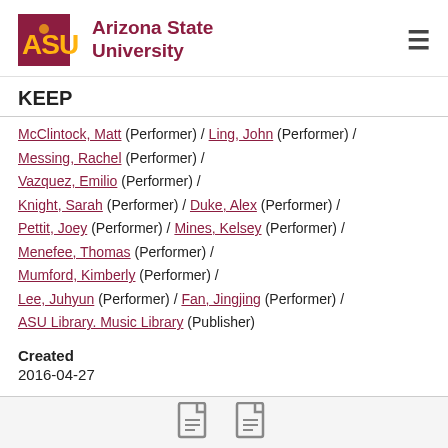ASU Arizona State University
KEEP
McClintock, Matt (Performer) / Ling, John (Performer) / Messing, Rachel (Performer) / Vazquez, Emilio (Performer) / Knight, Sarah (Performer) / Duke, Alex (Performer) / Pettit, Joey (Performer) / Mines, Kelsey (Performer) / Menefee, Thomas (Performer) / Mumford, Kimberly (Performer) / Lee, Juhyun (Performer) / Fan, Jingjing (Performer) / ASU Library. Music Library (Publisher)
Created
2016-04-27